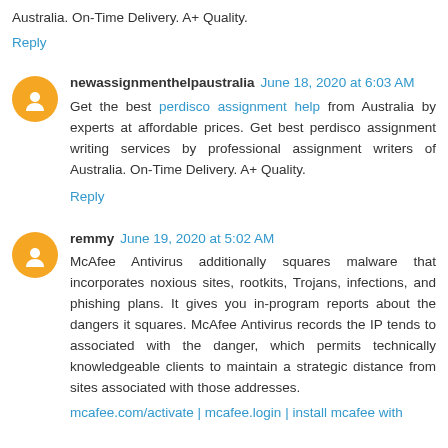Australia. On-Time Delivery. A+ Quality.
Reply
newassignmenthelpaustralia June 18, 2020 at 6:03 AM
Get the best perdisco assignment help from Australia by experts at affordable prices. Get best perdisco assignment writing services by professional assignment writers of Australia. On-Time Delivery. A+ Quality.
Reply
remmy June 19, 2020 at 5:02 AM
McAfee Antivirus additionally squares malware that incorporates noxious sites, rootkits, Trojans, infections, and phishing plans. It gives you in-program reports about the dangers it squares. McAfee Antivirus records the IP tends to associated with the danger, which permits technically knowledgeable clients to maintain a strategic distance from sites associated with those addresses.
mcafee.com/activate | mcafee.login | install mcafee with